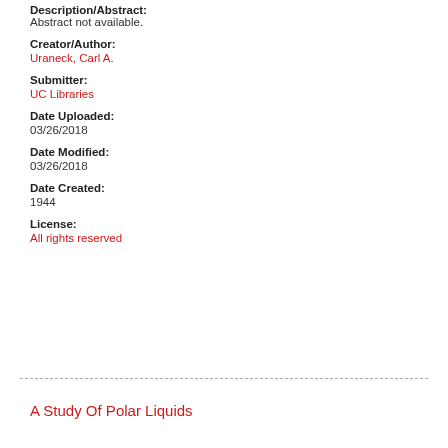Description/Abstract:
Abstract not available.
Creator/Author:
Uraneck, Carl A.
Submitter:
UC Libraries
Date Uploaded:
03/26/2018
Date Modified:
03/26/2018
Date Created:
1944
License:
All rights reserved
A Study Of Polar Liquids